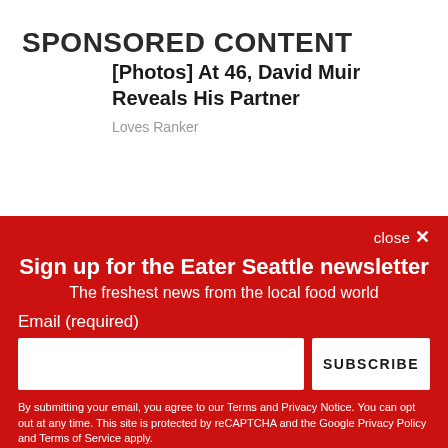SPONSORED CONTENT
[Photos] At 46, David Muir Reveals His Partner
Loves Ranker
close ×
Sign up for the Eater Seattle newsletter
The freshest news from the local food world
Email (required)
SUBSCRIBE
By submitting your email, you agree to our Terms and Privacy Notice. You can opt out at any time. This site is protected by reCAPTCHA and the Google Privacy Policy and Terms of Service apply.